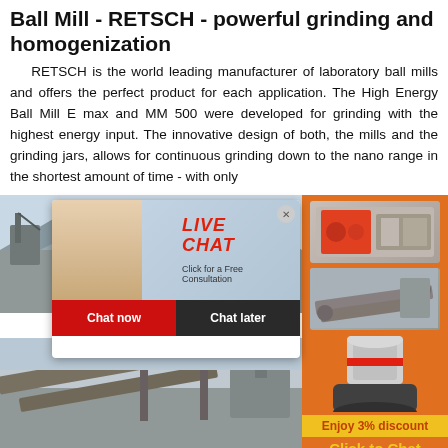Ball Mill - RETSCH - powerful grinding and homogenization
RETSCH is the world leading manufacturer of laboratory ball mills and offers the perfect product for each application. The High Energy Ball Mill E max and MM 500 were developed for grinding with the highest energy input. The innovative design of both, the mills and the grinding jars, allows for continuous grinding down to the nano range in the shortest amount of time - with only
[Figure (photo): Construction/mining site with machinery and a live chat popup overlay showing a woman in hard hat, with 'LIVE CHAT - Click for a Free Consultation' header, Chat now and Chat later buttons]
[Figure (photo): Orange sidebar with industrial machine images, 'Enjoy 3% discount', 'Click to Chat', and 'Enquiry' sections]
[Figure (photo): Second construction/mining site image showing conveyor equipment]